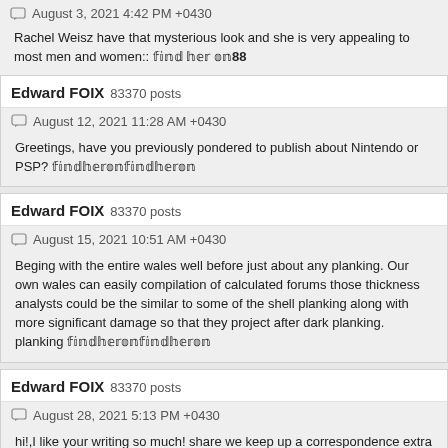August 3, 2021 4:42 PM +0430
Rachel Weisz have that mysterious look and she is very appealing to most men and women:: 𝕗𝕚𝕟𝕕 𝕙𝕖𝕣 𝕠𝕟88
Edward FOIX 83370 posts
August 12, 2021 11:28 AM +0430
Greetings, have you previously pondered to publish about Nintendo or PSP? 𝕗𝕚𝕟𝕕𝕙𝕖𝕣𝕠𝕟𝕗𝕚𝕟𝕕𝕙𝕖𝕣
Edward FOIX 83370 posts
August 15, 2021 10:51 AM +0430
Beging with the entire wales well before just about any planking. Our own wales can easily compilation of calculated forums those thickness analysts could be the similar to some of the shell planking along with more significant damage so that they project after dark planking. planking 𝕗𝕚𝕟𝕕𝕙𝕖𝕣𝕠𝕟𝕗𝕚𝕟𝕕𝕙𝕖𝕣𝕠𝕟
Edward FOIX 83370 posts
August 28, 2021 5:13 PM +0430
hi!,I like your writing so much! share we keep up a correspondence extra approximately your post on AOL? I require a specialist on this space to solve my problem. May be that is you! Looking ahead to peer